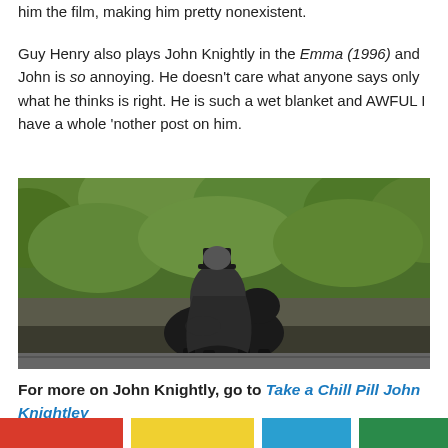him the film, making him pretty nonexistent.
Guy Henry also plays John Knightly in the Emma (1996) and John is so annoying. He doesn’t care what anyone says only what he thinks is right. He is such a wet blanket and AWFUL I have a whole ‘nother post on him.
[Figure (photo): A person riding a dark horse seen from behind, surrounded by green trees, wearing a dark coat and top hat.]
For more on John Knightly, go to Take a Chill Pill John Knightley
[Figure (other): Decorative color bar with red, yellow, blue, and green stripes.]